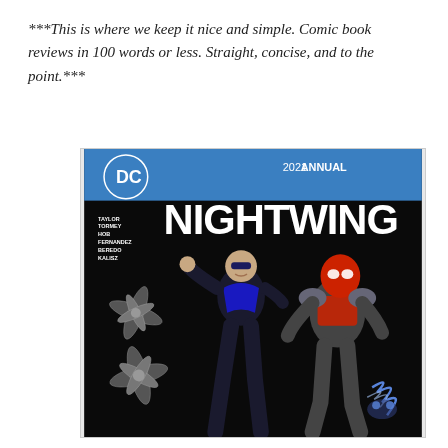***This is where we keep it nice and simple. Comic book reviews in 100 words or less. Straight, concise, and to the point.***
[Figure (illustration): Comic book cover: Nightwing 2021 Annual. DC Comics logo top left. Blue banner at top reading '2021 ANNUAL'. Large stylized 'NIGHTWING' logo in white letters. Creators listed: TAYLOR, TORMEY, HOB, FERNANDEZ, BEREDO, KALISZ. Dark background with Nightwing in black suit holding a batarang-style weapon, and Red Hood in red helmet and grey/red armor with blue energy lightning at lower right. Two large metallic shuriken weapons visible on left side.]